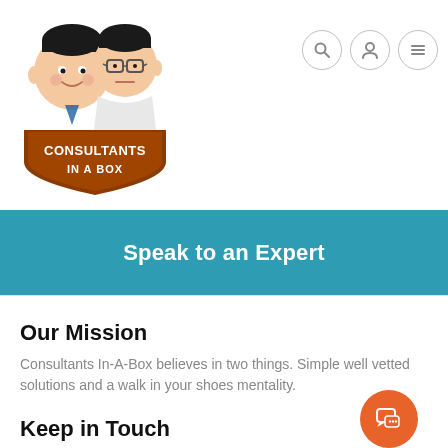[Figure (logo): Consultants In A Box logo — two cartoon characters (one smiling, one with glasses) above a brown badge shield with white text 'CONSULTANTS IN A BOX']
Navigation icons: search, user, menu
Speak to an Expert
Our Mission
Consultants In-A-Box believes in two things. Simple well vetted solutions and a walk in your shoes mentality.
Keep in Touch
Sign up for our newsletter and be the first to know about coupons